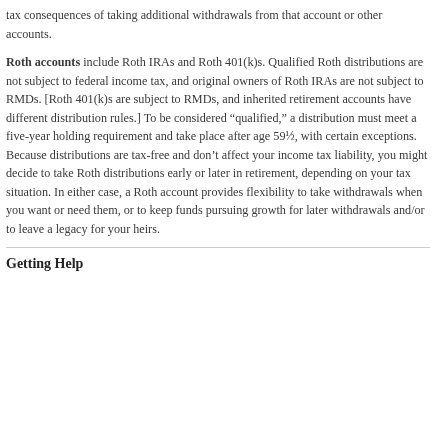tax consequences of taking additional withdrawals from that account or other accounts.
Roth accounts include Roth IRAs and Roth 401(k)s. Qualified Roth distributions are not subject to federal income tax, and original owners of Roth IRAs are not subject to RMDs. [Roth 401(k)s are subject to RMDs, and inherited retirement accounts have different distribution rules.] To be considered “qualified,” a distribution must meet a five-year holding requirement and take place after age 59½, with certain exceptions. Because distributions are tax-free and don’t affect your income tax liability, you might decide to take Roth distributions early or later in retirement, depending on your tax situation. In either case, a Roth account provides flexibility to take withdrawals when you want or need them, or to keep funds pursuing growth for later withdrawals and/or to leave a legacy for your heirs.
Getting Help